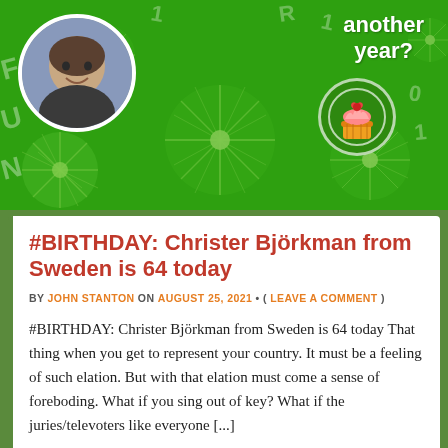[Figure (illustration): Green decorative birthday banner with starburst/firework patterns, a circular profile photo of a smiling middle-aged man on the left, text 'another year?' in white on the upper right, and a cupcake icon in a circle on the right side.]
#BIRTHDAY: Christer Björkman from Sweden is 64 today
BY JOHN STANTON ON AUGUST 25, 2021 • ( LEAVE A COMMENT )
#BIRTHDAY: Christer Björkman from Sweden is 64 today That thing when you get to represent your country. It must be a feeling of such elation. But with that elation must come a sense of foreboding. What if you sing out of key? What if the juries/televoters like everyone [...]
[Figure (illustration): Red decorative banner at the bottom of the page with sparkle/star effects.]